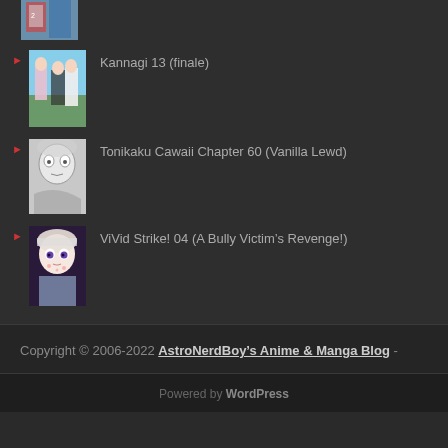[Figure (photo): Anime thumbnail image cropped at top - partial view]
Kannagi 13 (finale)
[Figure (photo): Anime thumbnail - characters standing outside]
Tonikaku Cawaii Chapter 60 (Vanilla Lewd)
[Figure (photo): Manga thumbnail - sketch style character]
ViVid Strike! 04 (A Bully Victim's Revenge!)
[Figure (photo): Anime thumbnail - blonde girl with purple eyes]
Copyright © 2006-2022 AstroNerdBoy's Anime & Manga Blog -
Powered by WordPress